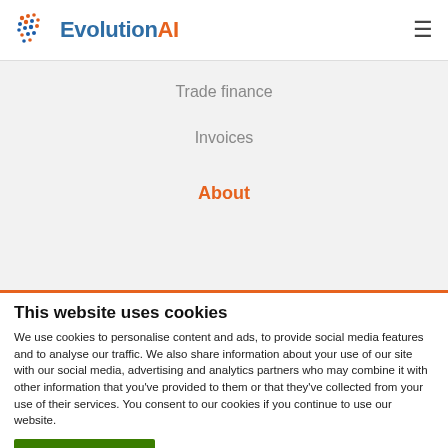[Figure (logo): EvolutionAI logo with dot pattern and hamburger menu icon]
Trade finance
Invoices
About
This website uses cookies
We use cookies to personalise content and ads, to provide social media features and to analyse our traffic. We also share information about your use of our site with our social media, advertising and analytics partners who may combine it with other information that you've provided to them or that they've collected from your use of their services. You consent to our cookies if you continue to use our website.
Allow all cookies
Show details